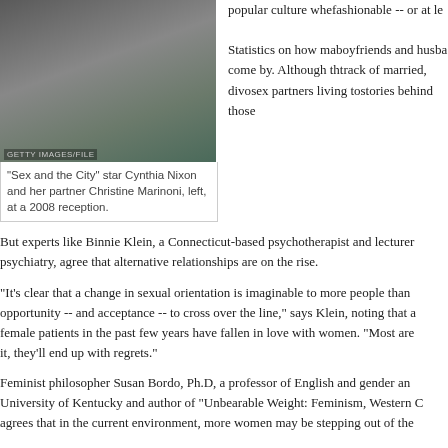[Figure (photo): Photo of 'Sex and the City' star Cynthia Nixon and her partner Christine Marinoni at a 2008 reception, with GETTY IMAGES/FILE watermark]
"Sex and the City" star Cynthia Nixon and her partner Christine Marinoni, left, at a 2008 reception.
popular culture whe... fashionable -- or at le...
Statistics on how ma... boyfriends and husba... come by. Although th... track of married, divo... sex partners living to... stories behind those...
But experts like Binnie Klein, a Connecticut-based psychotherapist and lecturer... psychiatry, agree that alternative relationships are on the rise.
"It's clear that a change in sexual orientation is imaginable to more people than... opportunity -- and acceptance -- to cross over the line," says Klein, noting that a... female patients in the past few years have fallen in love with women. "Most are... it, they'll end up with regrets."
Feminist philosopher Susan Bordo, Ph.D, a professor of English and gender an... University of Kentucky and author of "Unbearable Weight: Feminism, Western C... agrees that in the current environment, more women may be stepping out of the...
Don't Miss
Oprah.com:  Why do women fall for other women?
Oprah.com:  Comedian Carol Leifer attempts a lesbian fling
Oprah.com:  The hidden lives of gay wives
"When a taboo is lifted or diminished, it's g... pursue things," she says.
"So it makes sense that we would see wo... walking through that door now that the cu... course, we shouldn't imagine that we're liv... choices are possible. Just look at the cast... that only a certain kind of lesbian -- slim a... right androgynous way -- is acceptable to...